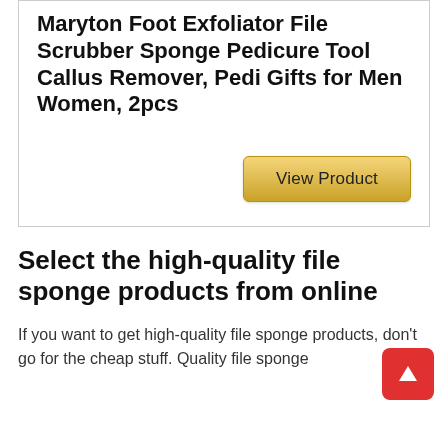Maryton Foot Exfoliator File Scrubber Sponge Pedicure Tool Callus Remover, Pedi Gifts for Men Women, 2pcs
[Figure (other): Golden 'View Product' button]
Select the high-quality file sponge products from online
If you want to get high-quality file sponge products, don't go for the cheap stuff. Quality file sponge